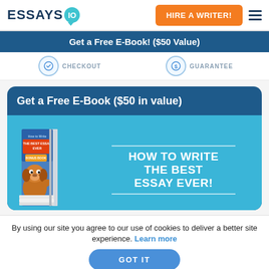ESSAYS IO — HIRE A WRITER!
Get a Free E-Book! ($50 Value)
CHECKOUT   GUARANTEE
Get a Free E-Book ($50 in value)
[Figure (illustration): Book cover illustration: 'HOW TO WRITE THE BEST ESSAY EVER!' with a cartoon dog character on a book cover, displayed as a 3D book in a blue promotional banner]
By using our site you agree to our use of cookies to deliver a better site experience. Learn more
GOT IT